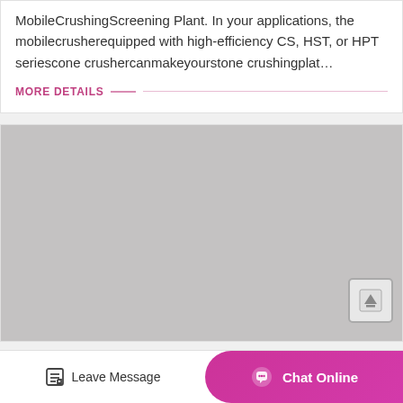MobileCrushingScreening Plant. In your applications, the mobilecrusherequipped with high-efficiency CS, HST, or HPT seriescone crushercanmakeyourstone crushingplat…
MORE DETAILS
[Figure (photo): Large grey placeholder image area representing a photo of a mobile crushing screening plant or related machinery]
Leave Message
Chat Online